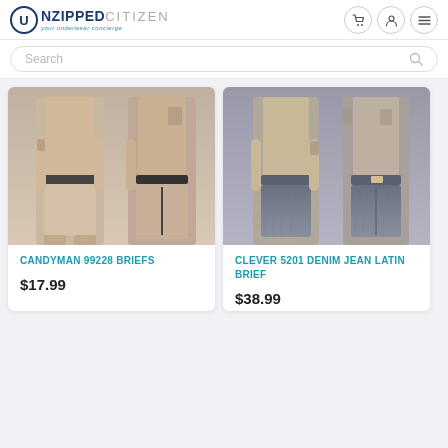UNZIPPED CITIZEN — your underwear concierge
Search
[Figure (photo): Two male models wearing Candyman 99228 Briefs, front and back view, nude/tan colored garment with dark waistband]
CANDYMAN 99228 BRIEFS
$17.99
[Figure (photo): Two male models wearing Clever 5201 Denim Jean Latin Brief, front and back view, denim-patterned garment]
CLEVER 5201 DENIM JEAN LATIN BRIEF
$38.99